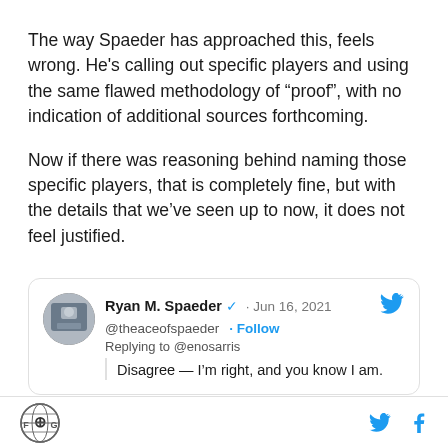The way Spaeder has approached this, feels wrong. He's calling out specific players and using the same flawed methodology of “proof”, with no indication of additional sources forthcoming.
Now if there was reasoning behind naming those specific players, that is completely fine, but with the details that we’ve seen up to now, it does not feel justified.
[Figure (screenshot): Embedded tweet from Ryan M. Spaeder (@theaceofspaeder) dated Jun 16, 2021, with Twitter bird icon, replying to @enosarris, text: Disagree — I’m right, and you know I am.]
FanGraphs logo, Twitter bird icon, Facebook f icon